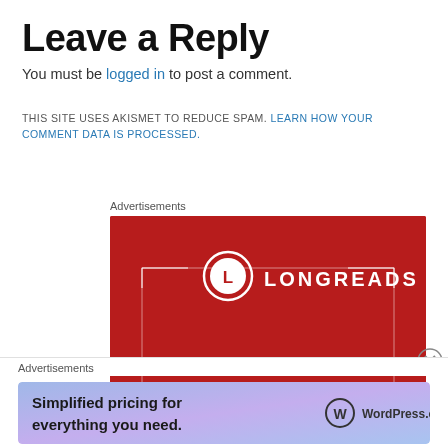Leave a Reply
You must be logged in to post a comment.
THIS SITE USES AKISMET TO REDUCE SPAM. LEARN HOW YOUR COMMENT DATA IS PROCESSED.
Advertisements
[Figure (logo): Longreads advertisement banner with red background showing the Longreads logo (circle with L) and brand name]
Advertisements
[Figure (screenshot): WordPress.com advertisement banner: Simplified pricing for everything you need.]